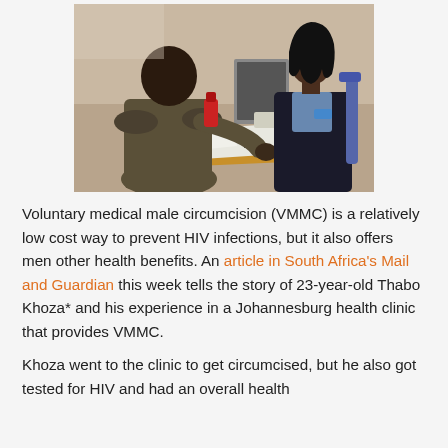[Figure (photo): A man seated across a desk from a female healthcare worker in a clinic setting. The healthcare worker is wearing gloves and a dark blazer with a blue badge. Papers and medical supplies are on the desk. The background shows a beige wall and a tablet/laptop.]
Voluntary medical male circumcision (VMMC) is a relatively low cost way to prevent HIV infections, but it also offers men other health benefits. An article in South Africa's Mail and Guardian this week tells the story of 23-year-old Thabo Khoza* and his experience in a Johannesburg health clinic that provides VMMC.
Khoza went to the clinic to get circumcised, but he also got tested for HIV and had an overall health